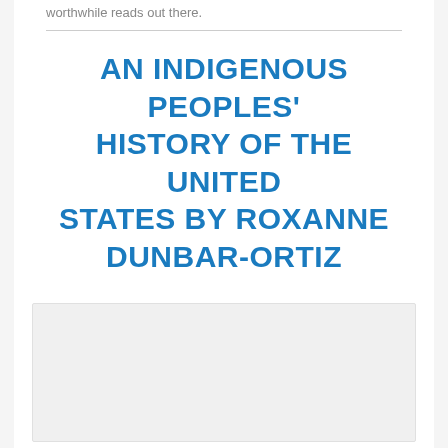worthwhile reads out there.
AN INDIGENOUS PEOPLES' HISTORY OF THE UNITED STATES BY ROXANNE DUNBAR-ORTIZ
[Figure (other): Book cover or related image placeholder (light gray rectangle)]